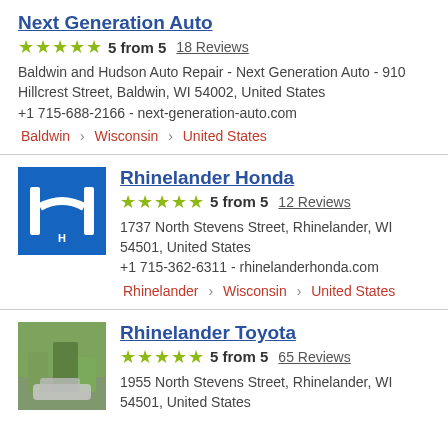Next Generation Auto
5 from 5   18 Reviews
Baldwin and Hudson Auto Repair - Next Generation Auto - 910 Hillcrest Street, Baldwin, WI 54002, United States
+1 715-688-2166 - next-generation-auto.com
Baldwin › Wisconsin › United States
Rhinelander Honda
5 from 5   12 Reviews
1737 North Stevens Street, Rhinelander, WI 54501, United States
+1 715-362-6311 - rhinelanderhonda.com
Rhinelander › Wisconsin › United States
Rhinelander Toyota
5 from 5   65 Reviews
1955 North Stevens Street, Rhinelander, WI 54501, United States